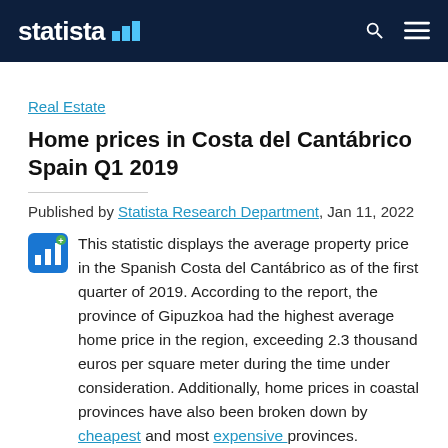statista
Real Estate
Home prices in Costa del Cantábrico Spain Q1 2019
Published by Statista Research Department, Jan 11, 2022
This statistic displays the average property price in the Spanish Costa del Cantábrico as of the first quarter of 2019. According to the report, the province of Gipuzkoa had the highest average home price in the region, exceeding 2.3 thousand euros per square meter during the time under consideration. Additionally, home prices in coastal provinces have also been broken down by cheapest and most expensive provinces.